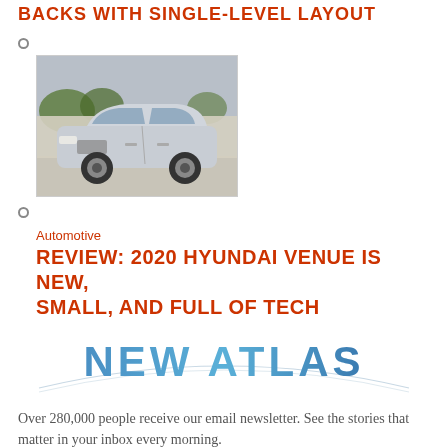BACKS WITH SINGLE-LEVEL LAYOUT
[Figure (photo): Silver Hyundai Venue SUV parked in front of a building with trees in background]
Automotive
REVIEW: 2020 HYUNDAI VENUE IS NEW, SMALL, AND FULL OF TECH
[Figure (logo): New Atlas logo with arc/swoosh design in blue gradient]
Over 280,000 people receive our email newsletter. See the stories that matter in your inbox every morning.
Join
HOME
FEATURES